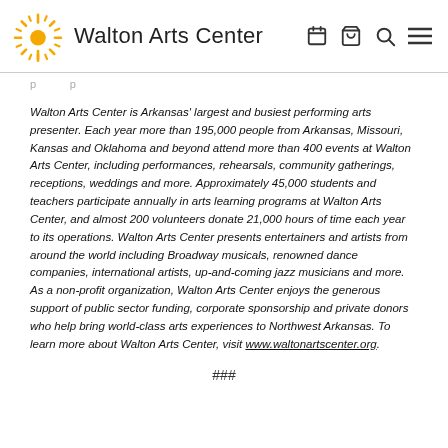Walton Arts Center
Walton Arts Center is Arkansas' largest and busiest performing arts presenter. Each year more than 195,000 people from Arkansas, Missouri, Kansas and Oklahoma and beyond attend more than 400 events at Walton Arts Center, including performances, rehearsals, community gatherings, receptions, weddings and more. Approximately 45,000 students and teachers participate annually in arts learning programs at Walton Arts Center, and almost 200 volunteers donate 21,000 hours of time each year to its operations. Walton Arts Center presents entertainers and artists from around the world including Broadway musicals, renowned dance companies, international artists, up-and-coming jazz musicians and more. As a non-profit organization, Walton Arts Center enjoys the generous support of public sector funding, corporate sponsorship and private donors who help bring world-class arts experiences to Northwest Arkansas. To learn more about Walton Arts Center, visit www.waltonartscenter.org.
###